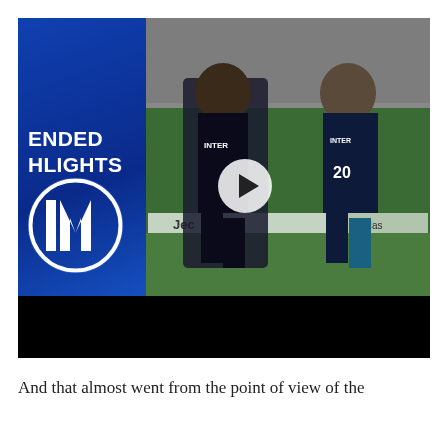[Figure (screenshot): Video thumbnail showing two Inter Milan players in dark blue/black jerseys celebrating on a football pitch. The left side shows a blue panel with text 'ENDED HLIGHTS' and the Inter Milan logo. A play button triangle is visible in the center. The bottom has a black bar. The background shows a crowded stadium (Juventus stadium with Jec and Adidas advertising boards visible).]
And that almost went from the point of view of the